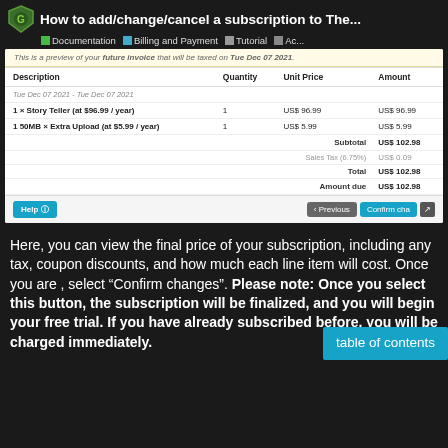How to add/change/cancel a subscription to The... | Documentation | Billing and Payment | Tutorial | Ac...
[Figure (screenshot): Screenshot of an invoice preview showing a subscription billing table with items: 1x Story Teller at $96.99/year (US$ 96.99), 1 50MB x Extra Upload at $5.99/year (US$ 5.99), Subtotal US$ 102.98, Sales Tax (6.75%) US$ 0.09, Total US$ 102.98, Amount due US$ 102.98. Buttons at bottom: Help, Previous, Confirm changes.]
Here, you can view the final price of your subscription, including any tax, coupon discounts, and how much each line item will cost. Once you are , select “Confirm changes”. Please note: Once you select this button, the subscription will be finalized, and you will begin your free trial. If you have already subscribed before, you will be charged immediately.